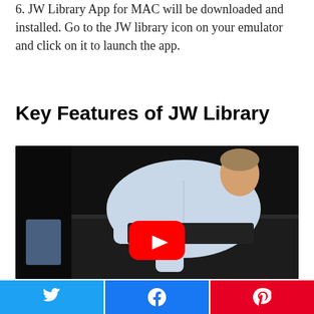6. JW Library App for MAC will be downloaded and installed. Go to the JW library icon on your emulator and click on it to launch the app.
Key Features of JW Library
[Figure (other): YouTube video thumbnail showing a person in a white shirt leaning over a desk, with a red YouTube play button overlay in the center]
[Figure (other): Social share buttons row: Twitter (blue), Facebook (blue), Pinterest (red) with respective icons]